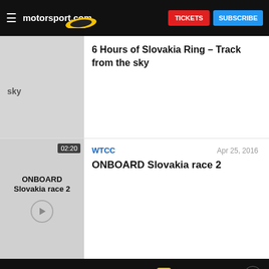[Figure (screenshot): Motorsport.com navigation bar with hamburger menu, logo, TICKETS and SUBSCRIBE buttons]
[Figure (screenshot): Partial video thumbnail showing 'sky' label with grey background]
6 Hours of Slovakia Ring – Track from the sky
[Figure (screenshot): Video thumbnail with 'ONBOARD Slovakia race 2' label, duration 02:20 and play button]
WTCC
Apr 25, 2016
ONBOARD Slovakia race 2
SUBSCRIBE TO OUR NEWSLETTER
[Figure (logo): motorsport.com logo with yellow oval, part of Motorsport Network]
[Figure (infographic): Social media icons: Facebook, Twitter, Instagram, YouTube, RSS]
The Motorsport.com app
Sign in